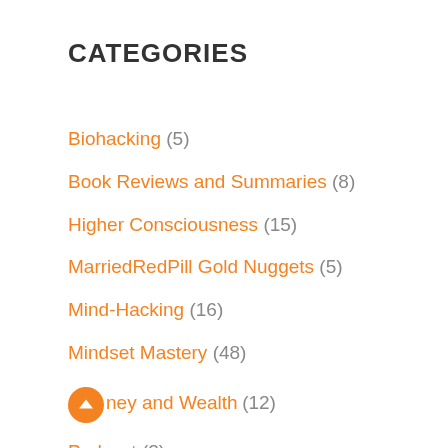CATEGORIES
Biohacking (5)
Book Reviews and Summaries (8)
Higher Consciousness (15)
MarriedRedPill Gold Nuggets (5)
Mind-Hacking (16)
Mindset Mastery (48)
Money and Wealth (12)
Podcast (2)